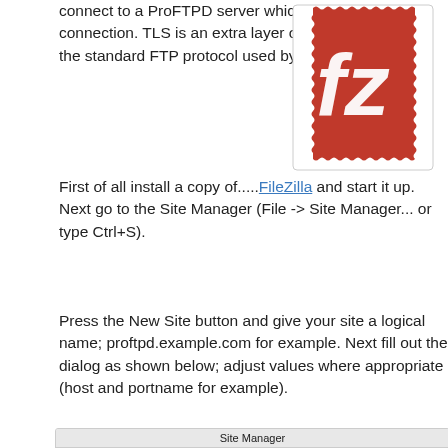connect to a ProFTPD server which requires a TLS connection. TLS is an extra layer of security over the standard FTP protocol used by ProFTPD.
[Figure (logo): FileZilla logo — red stamp-border square with white 'fz' letters]
First of all install a copy of.....FileZilla and start it up. Next go to the Site Manager (File -> Site Manager... or type Ctrl+S).
Press the New Site button and give your site a logical name; proftpd.example.com for example. Next fill out the dialog as shown below; adjust values where appropriate (host and portname for example).
[Figure (screenshot): FileZilla Site Manager dialog showing General, Advanced, Transfer Settings, Charset tabs; left panel shows My Sites > proftpd.example.com selected; right panel shows Host: proftpd.example.com, Port:, Protocol: FTP - File Transfer Protocol fields]